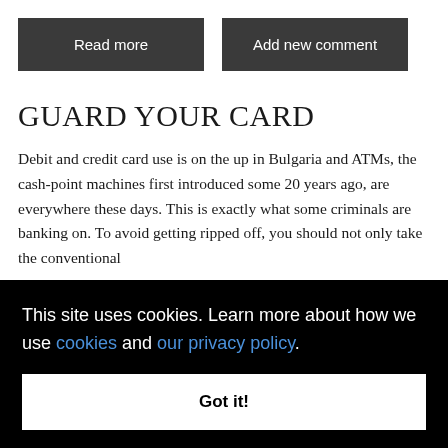Read more
Add new comment
GUARD YOUR CARD
Debit and credit card use is on the up in Bulgaria and ATMs, the cash-point machines first introduced some 20 years ago, are everywhere these days. This is exactly what some criminals are banking on. To avoid getting ripped off, you should not only take the conventional
ne, but
ms that
This site uses cookies. Learn more about how we use cookies and our privacy policy.
Got it!